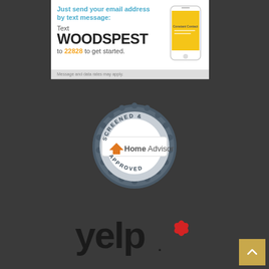[Figure (screenshot): SMS opt-in widget showing 'Just send your email address by text message: Text WOODSPEST to 22828 to get started. Message and data rates may apply.' with a phone graphic.]
[Figure (logo): HomeAdvisor Screened & Approved badge/seal]
[Figure (logo): Yelp logo with red burst icon]
[Figure (other): Yellow scroll-to-top button with upward arrow]